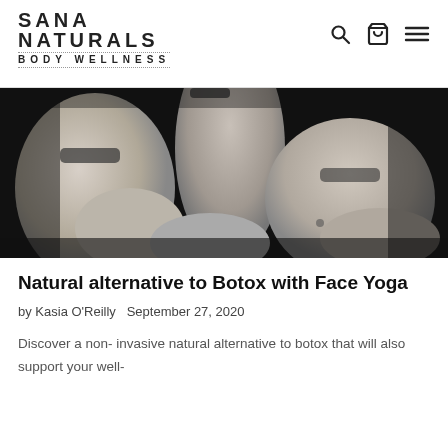SANA NATURALS BODY WELLNESS
[Figure (photo): Black and white close-up photo of a person in a yoga or stretching pose, showing arms and torso in a black sleeveless top against a dark background.]
Natural alternative to Botox with Face Yoga
by Kasia O'Reilly   September 27, 2020
Discover a non- invasive natural alternative to botox that will also support your well-